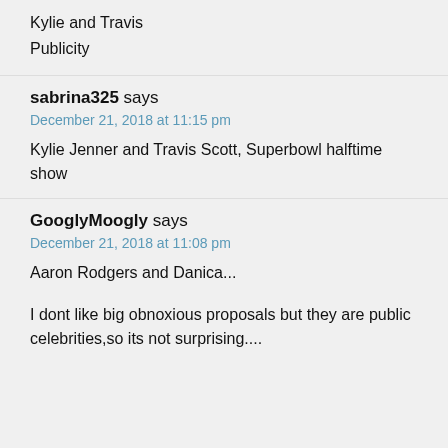Kylie and Travis
Publicity
sabrina325 says
December 21, 2018 at 11:15 pm
Kylie Jenner and Travis Scott, Superbowl halftime show
GooglyMoogly says
December 21, 2018 at 11:08 pm
Aaron Rodgers and Danica...
I dont like big obnoxious proposals but they are public celebrities,so its not surprising....